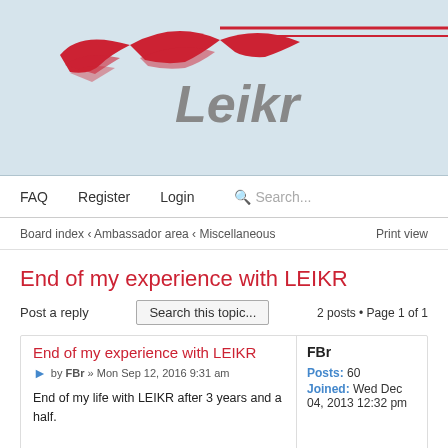[Figure (logo): Leikr logo with red wing-like graphic and grey italic Leikr text on light blue background]
FAQ   Register   Login   Search...
Board index ‹ Ambassador area ‹ Miscellaneous
Print view
End of my experience with LEIKR
Post a reply   Search this topic...   2 posts • Page 1 of 1
End of my experience with LEIKR
by FBr » Mon Sep 12, 2016 9:31 am
End of my life with LEIKR after 3 years and a half.

I, finally, give up with LEIKR after 3.5 years of good will and 5 different units.
I bought my LEIKR in February 2013 and then started to use it straight forward.
At the beginning I experimented troubles (Mainly software's') but updates were quite quick and it was the journey start for the company.
FBr
Posts: 60
Joined: Wed Dec 04, 2013 12:32 pm